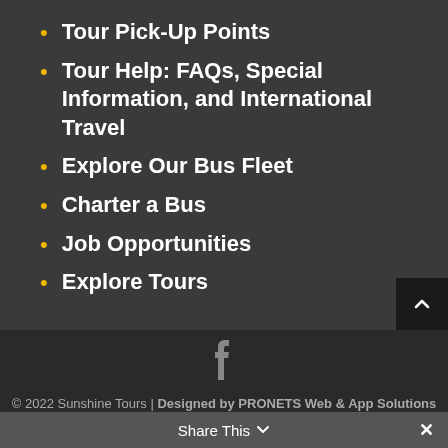Tour Pick-Up Points
Tour Help: FAQs, Special Information, and International Travel
Explore Our Bus Fleet
Charter a Bus
Job Opportunities
Explore Tours
© 2022 Sunshine Tours | Designed by PRONETS Web & App Solutions
Share This